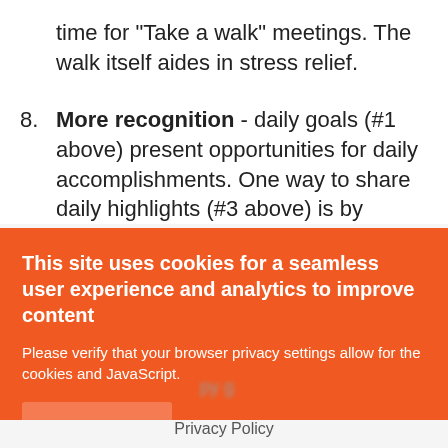time for "Take a walk" meetings. The walk itself aides in stress relief.
8. More recognition - daily goals (#1 above) present opportunities for daily accomplishments. One way to share daily highlights (#3 above) is by
[Figure (screenshot): Cookie consent banner overlay with orange background. Title: 'This site uses cookies for a seamless user experience and analytics to improve content'. Body text: 'Please verify that your browser privacy settings allow for the cookies and JavaScript.' OK button shown.]
Privacy Policy